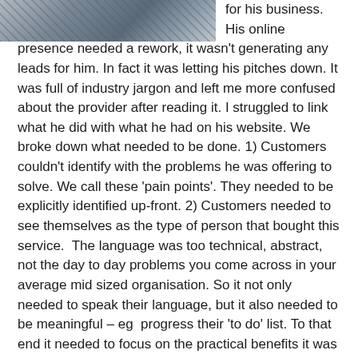[Figure (photo): Partial photograph of a person, cropped at the top-left of the page, showing a blurred/grey toned image]
for his business. His online presence needed a rework, it wasn't generating any leads for him. In fact it was letting his pitches down. It was full of industry jargon and left me more confused about the provider after reading it. I struggled to link what he did with what he had on his website. We broke down what needed to be done. 1) Customers couldn't identify with the problems he was offering to solve. We call these 'pain points'. They needed to be explicitly identified up-front. 2) Customers needed to see themselves as the type of person that bought this service.  The language was too technical, abstract, not the day to day problems you come across in your average mid sized organisation. So it not only needed to speak their language, but it also needed to be meaningful – eg  progress their 'to do' list. To that end it needed to focus on the practical benefits it was offering its customers. After the fee had been paid, what are the changes that will happen in their organisation. 4)  It needed to look more professional, have better images